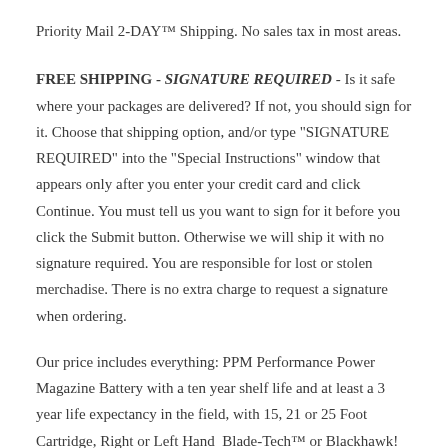Priority Mail 2-DAY™ Shipping. No sales tax in most areas.
FREE SHIPPING - SIGNATURE REQUIRED - Is it safe where your packages are delivered? If not, you should sign for it. Choose that shipping option, and/or type "SIGNATURE REQUIRED" into the "Special Instructions" window that appears only after you enter your credit card and click Continue. You must tell us you want to sign for it before you click the Submit button. Otherwise we will ship it with no signature required. You are responsible for lost or stolen merchadise. There is no extra charge to request a signature when ordering.
Our price includes everything: PPM Performance Power Magazine Battery with a ten year shelf life and at least a 3 year life expectancy in the field, with 15, 21 or 25 Foot Cartridge, Right or Left Hand Blade-Tech™ or Blackhawk!